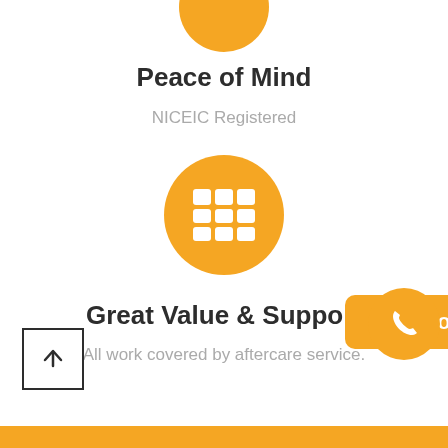[Figure (illustration): Orange circle icon partially visible at top center of page]
Peace of Mind
NICEIC Registered
[Figure (illustration): Orange circle containing a white table/grid icon (3x2 grid cells)]
Great Value & Support
All work covered by aftercare service.
[Figure (illustration): Square button with upward arrow (back to top)]
[Figure (illustration): Orange rounded rectangle Call Now button and orange phone circle icon]